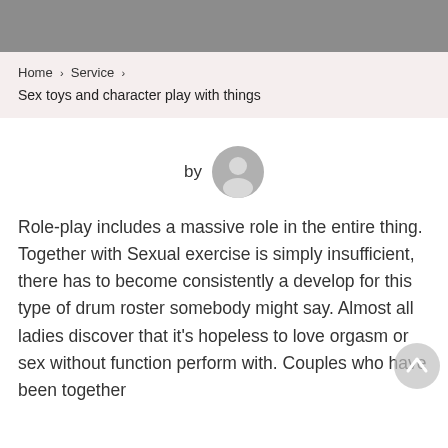Home › Service ›
Sex toys and character play with things
[Figure (illustration): User avatar icon — a gray silhouette of a person's head and shoulders inside a circle, with 'by' label to its left]
Role-play includes a massive role in the entire thing. Together with Sexual exercise is simply insufficient, there has to become consistently a develop for this type of drum roster somebody might say. Almost all ladies discover that it's hopeless to love orgasm or sex without function perform with. Couples who have been together